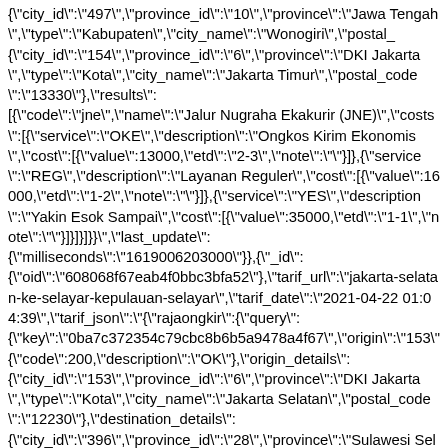{"city_id":"497","province_id":"10","province":"Jawa Tengah","type":"Kabupaten","city_name":"Wonogiri","postal_{"city_id":"154","province_id":"6","province":"DKI Jakarta","type":"Kota","city_name":"Jakarta Timur","postal_code":"13330"},"results":[{"code":"jne","name":"Jalur Nugraha Ekakurir (JNE)","costs":[{"service":"OKE","description":"Ongkos Kirim Ekonomis","cost":[{"value":13000,"etd":"2-3","note":""}]},{"service":"REG","description":"Layanan Reguler","cost":[{"value":16000,"etd":"1-2","note":""}]},{"service":"YES","description":"Yakin Esok Sampai","cost":[{"value":35000,"etd":"1-1","note":""}]}]}]}}","last_update":{"milliseconds":"1619006203000"}},{"_id":{"oid":"608068f67eab4f0bbc3bfa52"},"tarif_url":"jakarta-selatan-ke-selayar-kepulauan-selayar","tarif_date":"2021-04-22 01:04:39","tarif_json":"{"rajaongkir":{"query":{"key":"0ba7c372354c79cbc8b6b5a9478a4f67","origin":"153"{"code":200,"description":"OK"},"origin_details":{"city_id":"153","province_id":"6","province":"DKI Jakarta","type":"Kota","city_name":"Jakarta Selatan","postal_code":"12230"},"destination_details":{"city_id":"396","province_id":"28","province":"Sulawesi Selatan","type":"Kabupaten","city_name":"Selayar (Kepulauan Selayar)","postal_code":"92812"},"results":[{"code":"jne","name":"Jalur Nugraha Ekakurir